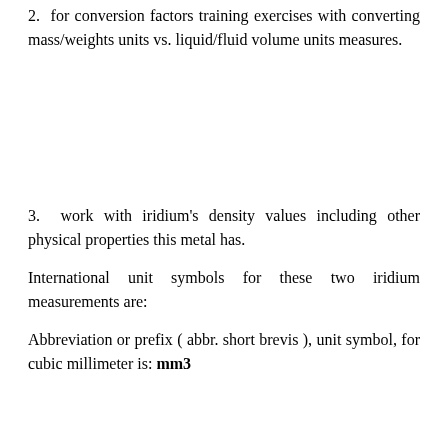2.  for conversion factors training exercises with converting mass/weights units vs. liquid/fluid volume units measures.
3.  work with iridium's density values including other physical properties this metal has.
International unit symbols for these two iridium measurements are:
Abbreviation or prefix ( abbr. short brevis ), unit symbol, for cubic millimeter is: mm3